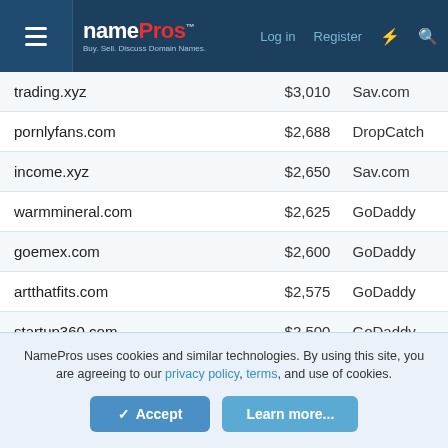[Figure (screenshot): NamePros website header with logo, Log in, Register, lightning bolt and search icons on dark blue background]
| Domain | Price | Registrar |
| --- | --- | --- |
| trading.xyz | $3,010 | Sav.com |
| pornlyfans.com | $2,688 | DropCatch |
| income.xyz | $2,650 | Sav.com |
| warmmineral.com | $2,625 | GoDaddy |
| goemex.com | $2,600 | GoDaddy |
| artthatfits.com | $2,575 | GoDaddy |
| startup360.com | $2,500 | GoDaddy |
| podcaststarter.com | $2,288 | BuyDomain |
NamePros uses cookies and similar technologies. By using this site, you are agreeing to our privacy policy, terms, and use of cookies.